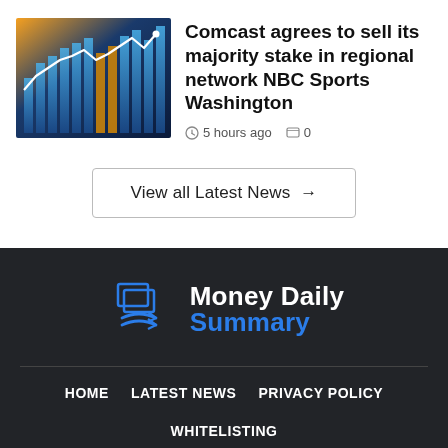[Figure (photo): Financial chart image showing blue bar chart with glowing white line overlay on dark background with warm orange/yellow tones]
Comcast agrees to sell its majority stake in regional network NBC Sports Washington
5 hours ago  0
View all Latest News →
[Figure (logo): Money Daily Summary logo with blue swirl/arrow icon on dark background]
HOME  LATEST NEWS  PRIVACY POLICY  WHITELISTING
All rights reserved by www.moneydailysummary.com